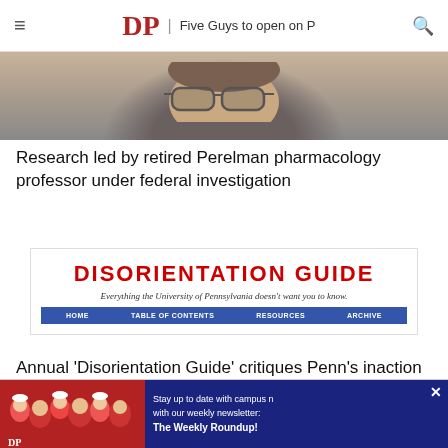DP | Five Guys to open on P
[Figure (photo): Partial photo of a man wearing glasses, cropped at top showing forehead, eyes and glasses]
Research led by retired Perelman pharmacology professor under federal investigation
[Figure (screenshot): Disorientation Guide website screenshot: red bold title 'DISORIENTATION GUIDE', subtitle 'Everything the University of Pennsylvania doesn't want you to know.', blue navigation bar with HOME, TABLE OF CONTENTS, RESOURCES, ARCHIVE]
Annual 'Disorientation Guide' critiques Penn's inaction on UC Townhomes, PILOTs
[Figure (photo): Advertisement banner: photo of crowd in red shirts with blue overlay text 'Stay up to date with campus news with our weekly newsletter: The Weekly Roundup!']